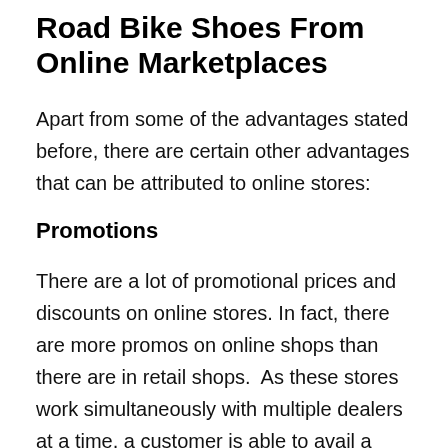Road Bike Shoes From Online Marketplaces
Apart from some of the advantages stated before, there are certain other advantages that can be attributed to online stores:
Promotions
There are a lot of promotional prices and discounts on online stores. In fact, there are more promos on online shops than there are in retail shops.  As these stores work simultaneously with multiple dealers at a time, a customer is able to avail a certain product at the